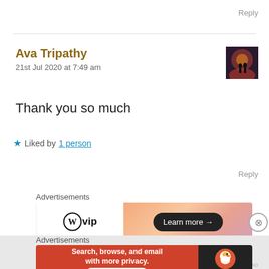Reply
Ava Tripathy
21st Jul 2020 at 7:49 am
[Figure (photo): Small thumbnail avatar image showing a silhouetted figure against a reddish/orange background]
Thank you so much
★ Liked by 1 person
Reply
Advertisements
[Figure (screenshot): WordPress VIP advertisement banner with 'Learn more →' button on orange gradient background]
Advertisements
[Figure (screenshot): DuckDuckGo advertisement: 'Search, browse, and email with more privacy. All in One Free App' with DuckDuckGo logo]